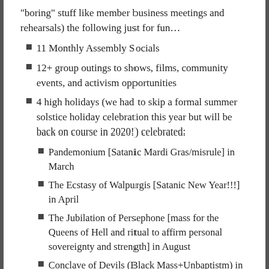“boring” stuff like member business meetings and rehearsals) the following just for fun…
11 Monthly Assembly Socials
12+ group outings to shows, films, community events, and activism opportunities
4 high holidays (we had to skip a formal summer solstice holiday celebration this year but will be back on course in 2020!) celebrated:
Pandemonium [Satanic Mardi Gras/misrule] in March
The Ecstasy of Walpurgis [Satanic New Year!!!] in April
The Jubilation of Persephone [mass for the Queens of Hell and ritual to affirm personal sovereignty and strength] in August
Conclave of Devils (Black Mass+Unbaptistm) in October